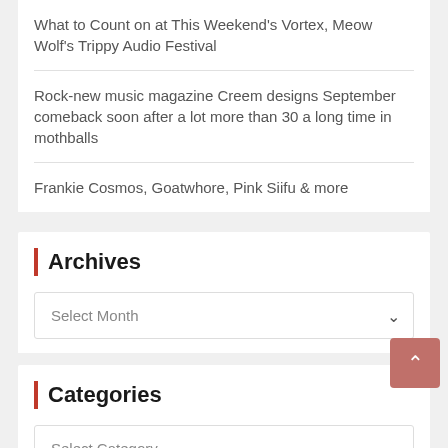What to Count on at This Weekend's Vortex, Meow Wolf's Trippy Audio Festival
Rock-new music magazine Creem designs September comeback soon after a lot more than 30 a long time in mothballs
Frankie Cosmos, Goatwhore, Pink Siifu & more
Archives
Select Month
Categories
Select Category